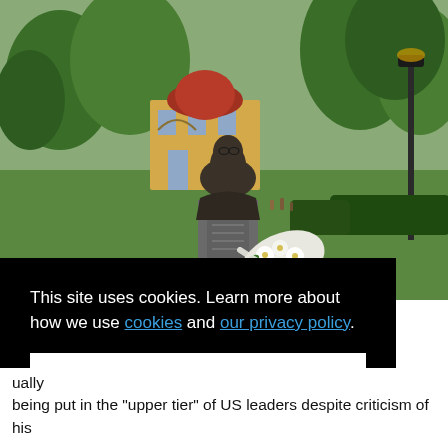[Figure (photo): Outdoor photograph of a bronze bust statue on a tall stone pedestal in a park setting. White flowers are arranged at the base of the pedestal. In the background is a yellow building with a red dome, green trees, a lamp post, and a grassy lawn.]
This site uses cookies. Learn more about how we use cookies and our privacy policy.
Got it!
ually being put in the "upper tier" of US leaders despite criticism of his